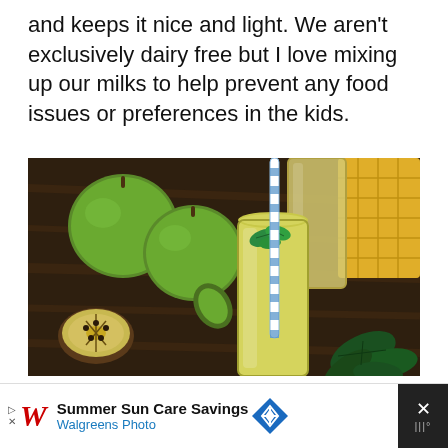and keeps it nice and light. We aren't exclusively dairy free but I love mixing up our milks to help prevent any food issues or preferences in the kids.
[Figure (photo): Overhead photo of two tall glasses filled with a yellow-green smoothie, garnished with fresh mint leaves and a blue striped straw. Surrounding the glasses on a dark wooden surface are green apples, a halved kiwi, a slice of pineapple, and green leafy herbs.]
Summer Sun Care Savings Walgreens Photo